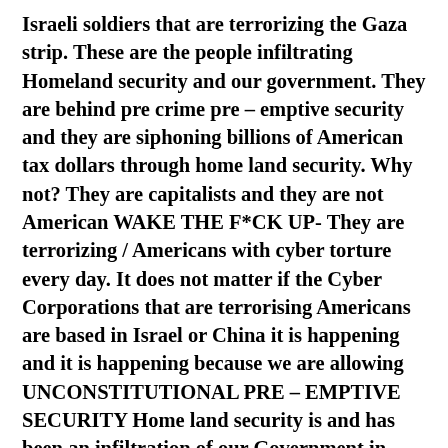Israeli soldiers that are terrorizing the Gaza strip. These are the people infiltrating Homeland security and our government. They are behind pre crime pre – emptive security and they are siphoning billions of American tax dollars through home land security. Why not? They are capitalists and they are not American WAKE THE F*CK UP- They are terrorizing / Americans with cyber torture every day. It does not matter if the Cyber Corporations that are terrorising Americans are based in Israel or China it is happening and it is happening because we are allowing UNCONSTITUTIONAL PRE – EMPTIVE SECURITY Home land security is and has been an infiltration of our Government in which foreign interests and traitors are